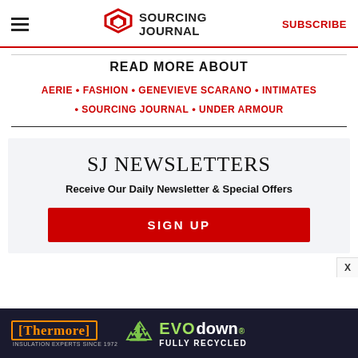SOURCING JOURNAL | SUBSCRIBE
READ MORE ABOUT
AERIE • FASHION • GENEVIEVE SCARANO • INTIMATES • SOURCING JOURNAL • UNDER ARMOUR
SJ NEWSLETTERS
Receive Our Daily Newsletter & Special Offers
SIGN UP
[Figure (advertisement): Thermore and EVO down advertisement banner. Dark navy background with orange Thermore logo, recycling icon, and green/white EVO down text. Tagline: INSULATION EXPERTS SINCE 1972 | FULLY RECYCLED]